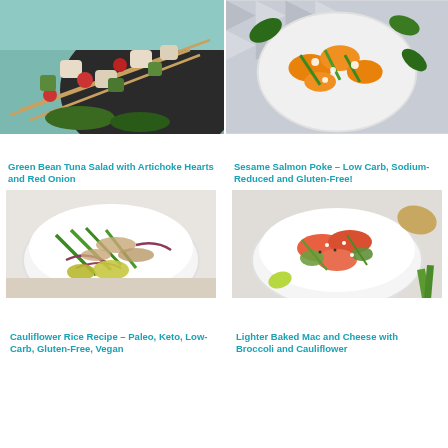[Figure (photo): Food skewers with chicken, tomatoes, avocado, and cucumber on a dark plate]
[Figure (photo): Colorful salad with sweet potato, green beans, and white cheese in a white bowl on patterned mat]
Green Bean Tuna Salad with Artichoke Hearts and Red Onion
Sesame Salmon Poke – Low Carb, Sodium-Reduced and Gluten-Free!
[Figure (photo): Green bean tuna salad with red onion, avocado in a white bowl]
[Figure (photo): Sesame salmon poke bowl with avocado and lime in a white bowl]
Cauliflower Rice Recipe – Paleo, Keto, Low-Carb, Gluten-Free, Vegan
Lighter Baked Mac and Cheese with Broccoli and Cauliflower